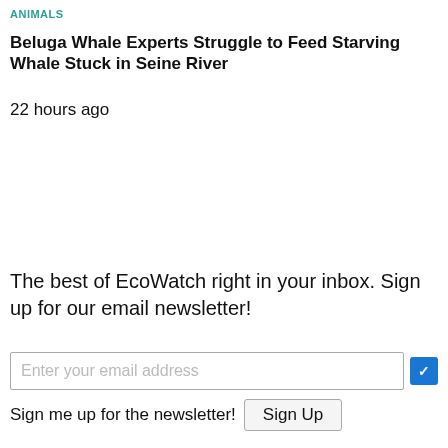ANIMALS
Beluga Whale Experts Struggle to Feed Starving Whale Stuck in Seine River
22 hours ago
The best of EcoWatch right in your inbox. Sign up for our email newsletter!
Enter your email address
Sign me up for the newsletter! Sign Up